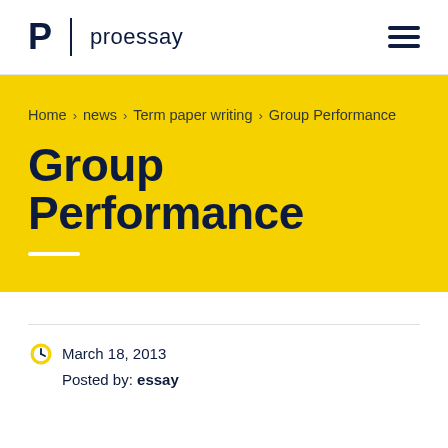proessay
Home › news › Term paper writing › Group Performance
Group Performance
March 18, 2013
Posted by: essay